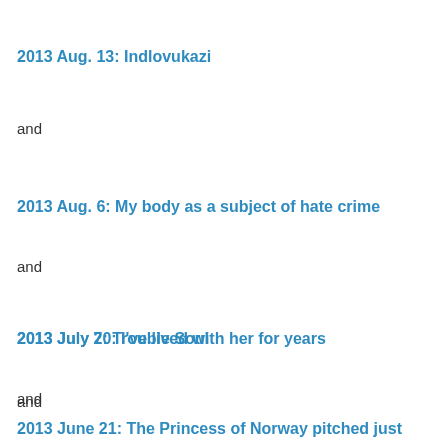2013 Aug. 13: Indlovukazi
and
2013 Aug. 6: My body as a subject of hate crime
and
2013 July 20: I've lived with her for years
and
2013 July 7: Trouble Soul
and
2013 June 21: The Princess of Norway pitched just